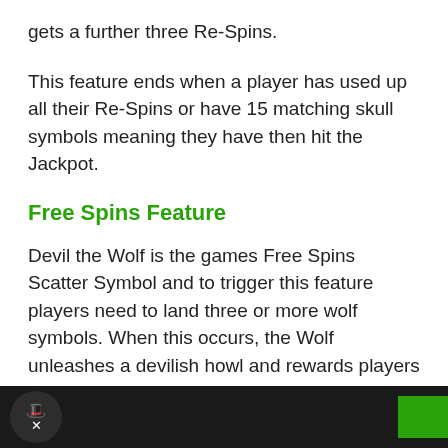gets a further three Re-Spins.
This feature ends when a player has used up all their Re-Spins or have 15 matching skull symbols meaning they have then hit the Jackpot.
Free Spins Feature
Devil the Wolf is the games Free Spins Scatter Symbol and to trigger this feature players need to land three or more wolf symbols. When this occurs, the Wolf unleashes a devilish howl and rewards players with five Free Spins. The 2nd, 3rd 4th reels can merge to create a massi